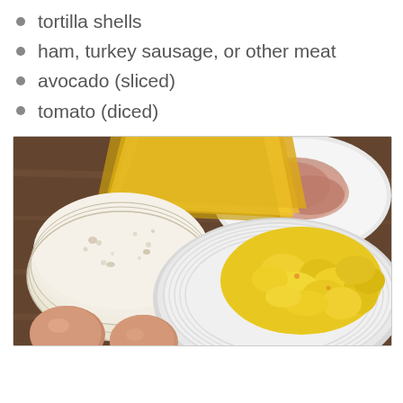tortilla shells
ham, turkey sausage, or other meat
avocado (sliced)
tomato (diced)
[Figure (photo): Breakfast taco ingredients on a wooden table: stacked flour tortillas, sliced American cheese, sliced ham on a white plate, scrambled eggs on a white ridged plate, and brown eggs in the foreground.]